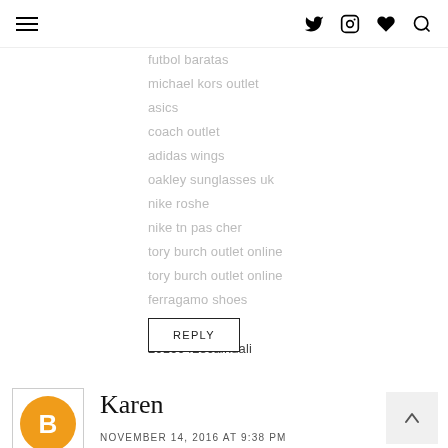hamburger menu | twitter | instagram | heart | search
futbol baratas
michael kors outlet
asics
coach outlet
adidas wings
oakley sunglasses uk
nike roshe
nike tn pas cher
tory burch outlet online
tory burch outlet online
ferragamo shoes
tiffany outlet
20160428caihuali
REPLY
Karen
NOVEMBER 14, 2016 AT 9:38 PM
This house flag is Officially Licensed by the NFL